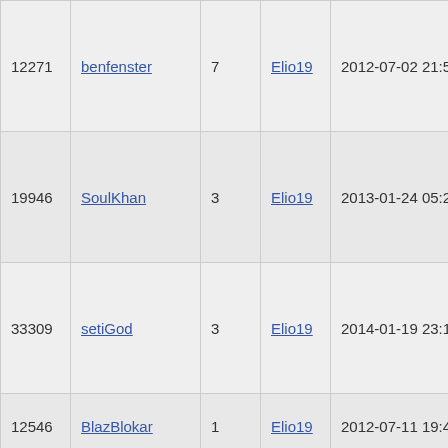| ID | Name | Num | User | Date |  |
| --- | --- | --- | --- | --- | --- |
| 12271 | benfenster | 7 | Elio19 | 2012-07-02 21:58:22 |  |
| 19946 | SoulKhan | 3 | Elio19 | 2013-01-24 05:21:48 |  |
| 33309 | setiGod | 3 | Elio19 | 2014-01-19 23:16:12 | - |
| 12546 | BlazBlokar | 1 | Elio19 | 2012-07-11 19:48:04 |  |
| 33564 | kyrio | -23 | Elio19 | 2014-02-04 04:39:29 |  |